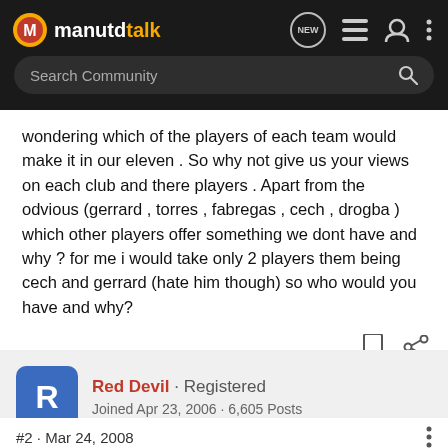manutdtalk — Search Community
wondering which of the players of each team would make it in our eleven . So why not give us your views on each club and there players . Apart from the odvious (gerrard , torres , fabregas , cech , drogba ) which other players offer something we dont have and why ? for me i would take only 2 players them being cech and gerrard (hate him though) so who would you have and why?
Red Devil · Registered
Joined Apr 23, 2006 · 6,605 Posts
#2 · Mar 24, 2008